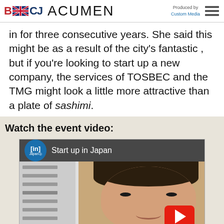BCCJ ACUMEN — Produced by Custom Media
in for three consecutive years. She said this might be as a result of the city's fantastic , but if you're looking to start up a new company, the services of TOSBEC and the TMG might look a little more attractive than a plate of sashimi.
Watch the event video:
[Figure (screenshot): YouTube video thumbnail showing 'Start up in Japan' video with a woman's face and a red play button. The video is from the LinkedIn 'In Japan' channel.]